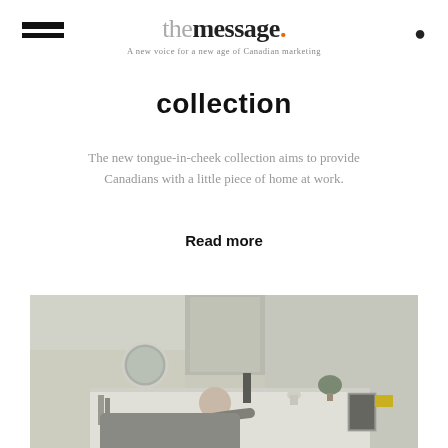the message. A new voice for a new age of Canadian marketing
collection
The new tongue-in-cheek collection aims to provide Canadians with a little piece of home at work.
Read more
[Figure (photo): A middle-aged man sitting on a sofa in a modern living room, reaching forward, with home furnishings, a round mirror, plants, and a framed portrait visible in the background.]